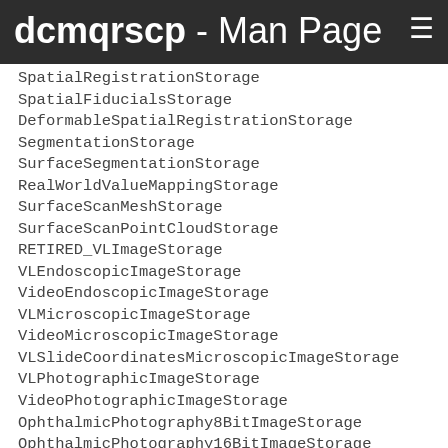dcmqrscp - Man Page
SpatialRegistrationStorage
SpatialFiducialsStorage
DeformableSpatialRegistrationStorage
SegmentationStorage
SurfaceSegmentationStorage
RealWorldValueMappingStorage
SurfaceScanMeshStorage
SurfaceScanPointCloudStorage
RETIRED_VLImageStorage
VLEndoscopicImageStorage
VideoEndoscopicImageStorage
VLMicroscopicImageStorage
VideoMicroscopicImageStorage
VLSlideCoordinatesMicroscopicImageStorage
VLPhotographicImageStorage
VideoPhotographicImageStorage
OphthalmicPhotography8BitImageStorage
OphthalmicPhotography16BitImageStorage
StereometricRelationshipStorage
OphthalmicTomographyImageStorage
VLWholeSlideMicroscopyImageStorage
RETIRED_VLMultiframeImageStorage
LensometryMeasurementsStorage